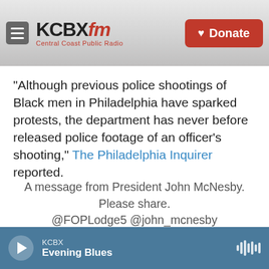KCBX FM — Central Coast Public Radio | Donate
"Although previous police shootings of Black men in Philadelphia have sparked protests, the department has never before released police footage of an officer's shooting," The Philadelphia Inquirer reported.
A message from President John McNesby. Please share. @FOPLodge5 @john_mcnesby pic.twitter.com/AJAKed7Xlw
— FOPLodge5 (@FOPLodge5)
KCBX — Evening Blues